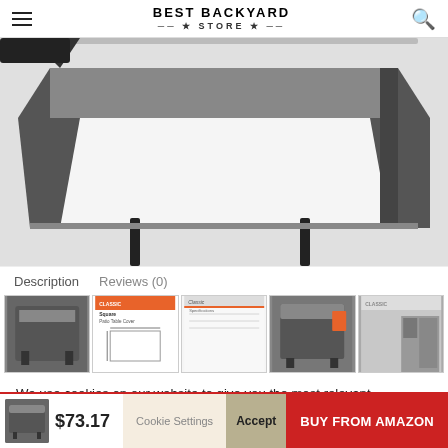BEST BACKYARD STORE
[Figure (photo): Product photo of a dark grey square patio table cover, shown in use outdoors. White straps visible hanging down. Dark background.]
Description    Reviews (0)
[Figure (photo): Thumbnail strip showing 5 product images of a square patio table cover from different angles and with packaging/spec sheets.]
We use cookies on our website to give you the most relevant experience by remembering your preferences and repeat visits. By clicking “Accept All”, you consent to the use of ALL the cookies. However, you may visit “Cookie Settings” to provide a controlled consent.
Cookie Settings    Accept    $73.17    BUY FROM AMAZON